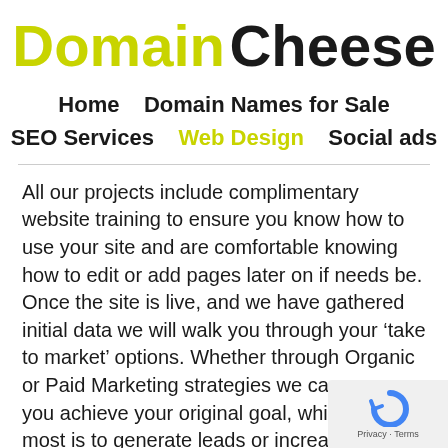Domain Cheese
Home   Domain Names for Sale   SEO Services   Web Design   Social ads
All our projects include complimentary website training to ensure you know how to use your site and are comfortable knowing how to edit or add pages later on if needs be. Once the site is live, and we have gathered initial data we will walk you through your ‘take to market’ options. Whether through Organic or Paid Marketing strategies we can ensure you achieve your original goal, which for most is to generate leads or increase sales.
[Figure (other): reCAPTCHA widget with Privacy and Terms links]